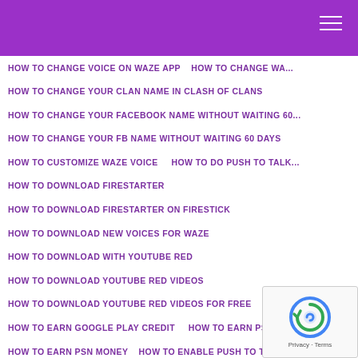HOW TO CHANGE VOICE ON WAZE APP    HOW TO CHANGE WA...
HOW TO CHANGE YOUR CLAN NAME IN CLASH OF CLANS
HOW TO CHANGE YOUR FACEBOOK NAME WITHOUT WAITING 60...
HOW TO CHANGE YOUR FB NAME WITHOUT WAITING 60 DAYS
HOW TO CUSTOMIZE WAZE VOICE    HOW TO DO PUSH TO TALK...
HOW TO DOWNLOAD FIRESTARTER
HOW TO DOWNLOAD FIRESTARTER ON FIRESTICK
HOW TO DOWNLOAD NEW VOICES FOR WAZE
HOW TO DOWNLOAD WITH YOUTUBE RED
HOW TO DOWNLOAD YOUTUBE RED VIDEOS
HOW TO DOWNLOAD YOUTUBE RED VIDEOS FOR FREE
HOW TO EARN GOOGLE PLAY CREDIT    HOW TO EARN PSN CO...
HOW TO EARN PSN MONEY    HOW TO ENABLE PUSH TO TALK O...
HOW TO ENTER PROMO CODE ON SUMMONERS WAR
HOW TO ENTER SUMMONERS WAR CODES ON IOS
HOW TO ENTER SUMMONERS WAR CODES ON IOS 20...
HOW TO FIND THE PARAMETER OF INTEREST